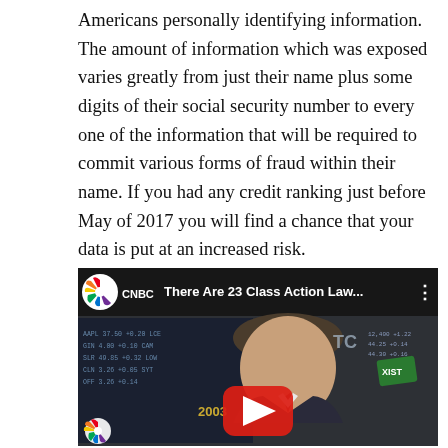Americans personally identifying information. The amount of information which was exposed varies greatly from just their name plus some digits of their social security number to every one of the information that will be required to commit various forms of fraud within their name. If you had any credit ranking just before May of 2017 you will find a chance that your data is put at an increased risk.
[Figure (screenshot): YouTube video thumbnail showing a CNBC video titled 'There Are 23 Class Action Law...' featuring a man being interviewed in front of a stock market display board. A red YouTube play button is visible in the center. A CNBC peacock logo appears at the bottom left.]